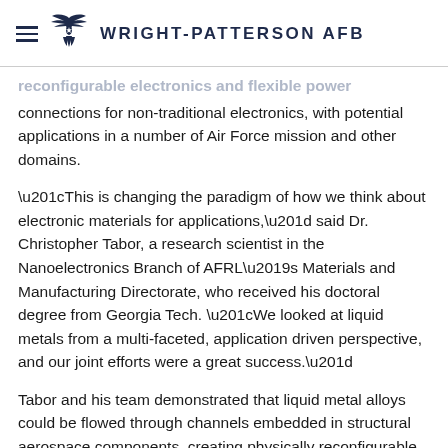WRIGHT-PATTERSON AFB
reconfigurable electronics and flexible power connections for non-traditional electronics, with potential applications in a number of Air Force mission and other domains.
“This is changing the paradigm of how we think about electronic materials for applications,” said Dr. Christopher Tabor, a research scientist in the Nanoelectronics Branch of AFRL’s Materials and Manufacturing Directorate, who received his doctoral degree from Georgia Tech. “We looked at liquid metals from a multi-faceted, application driven perspective, and our joint efforts were a great success.”
Tabor and his team demonstrated that liquid metal alloys could be flowed through channels embedded in structural aerospace components, creating physically reconfigurable electronic material able to change